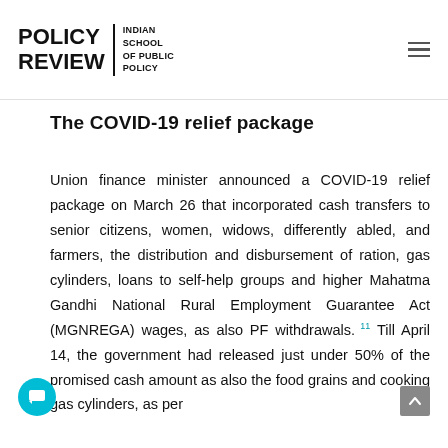POLICY REVIEW | INDIAN SCHOOL OF PUBLIC POLICY
The COVID-19 relief package
Union finance minister announced a COVID-19 relief package on March 26 that incorporated cash transfers to senior citizens, women, widows, differently abled, and farmers, the distribution and disbursement of ration, gas cylinders, loans to self-help groups and higher Mahatma Gandhi National Rural Employment Guarantee Act (MGNREGA) wages, as also PF withdrawals. Till April 14, the government had released just under 50% of the promised cash amount as also the food grains and cooking gas cylinders, as per